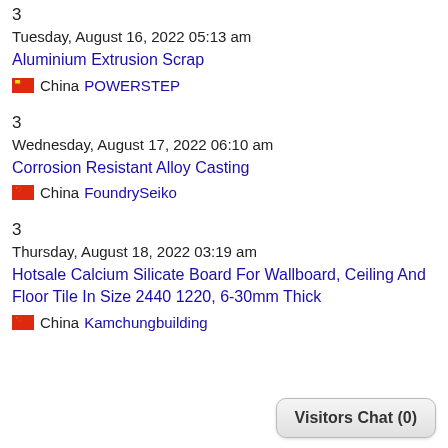3
Tuesday, August 16, 2022 05:13 am
Aluminium Extrusion Scrap
China POWERSTEP
3
Wednesday, August 17, 2022 06:10 am
Corrosion Resistant Alloy Casting
China FoundrySeiko
3
Thursday, August 18, 2022 03:19 am
Hotsale Calcium Silicate Board For Wallboard, Ceiling And Floor Tile In Size 2440 1220, 6-30mm Thick
China Kamchungbuilding
Visitors Chat (0)